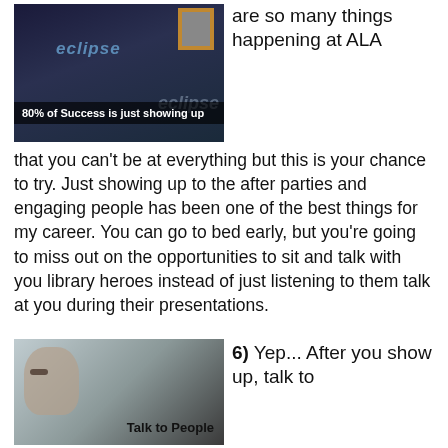[Figure (photo): Dark background image with 'eclipse' text and a framed portrait photo. Overlay caption bar reads '80% of Success is just showing up']
are so many things happening at ALA that you can't be at everything but this is your chance to try. Just showing up to the after parties and engaging people has been one of the best things for my career. You can go to bed early, but you're going to miss out on the opportunities to sit and talk with you library heroes instead of just listening to them talk at you during their presentations.
[Figure (photo): Close-up of a person's face. Text overlay reads 'Talk to People']
6) Yep... After you show up, talk to